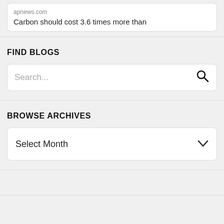apnews.com
Carbon should cost 3.6 times more than
FIND BLOGS
Search...
BROWSE ARCHIVES
Select Month